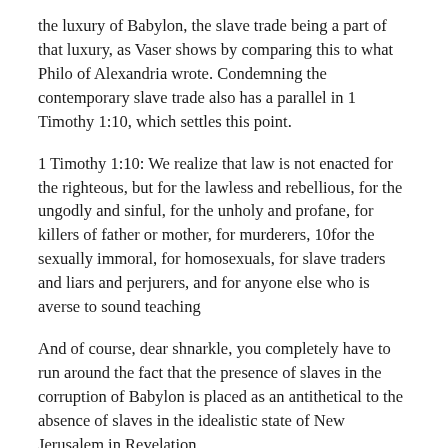the luxury of Babylon, the slave trade being a part of that luxury, as Vaser shows by comparing this to what Philo of Alexandria wrote. Condemning the contemporary slave trade also has a parallel in 1 Timothy 1:10, which settles this point.
1 Timothy 1:10: We realize that law is not enacted for the righteous, but for the lawless and rebellious, for the ungodly and sinful, for the unholy and profane, for killers of father or mother, for murderers, 10for the sexually immoral, for homosexuals, for slave traders and liars and perjurers, and for anyone else who is averse to sound teaching
And of course, dear shnarkle, you completely have to run around the fact that the presence of slaves in the corruption of Babylon is placed as an antithetical to the absence of slaves in the idealistic state of New Jerusalem in Revelation.